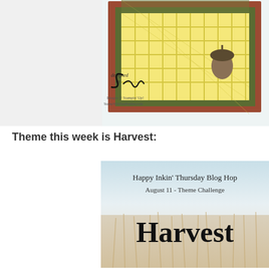[Figure (photo): Close-up photo of a handmade card with green, brown/rust borders, yellow plaid patterned paper, and an acorn image. Features a handwritten signature watermark reading 'designed by Sue' with 'Images © Stampin' Up!' and 'StampWithSuePrather.com']
Theme this week is Harvest:
[Figure (photo): Promotional image for Happy Inkin' Thursday Blog Hop, August 11 - Theme Challenge. Background shows a field of wheat/grain with the word 'Harvest' in large handwritten-style black font overlaid on the image.]